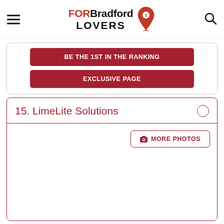FOR Bradford LOVERS
BE THE 1ST IN THE RANKING
EXCLUSIVE PAGE
15. LimeLite Solutions
MORE PHOTOS